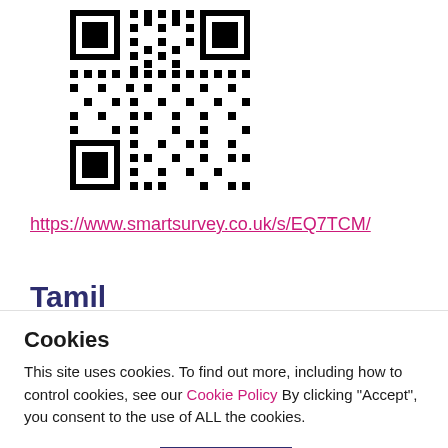[Figure (other): QR code linking to https://www.smartsurvey.co.uk/s/EQ7TCM/]
https://www.smartsurvey.co.uk/s/EQ7TCM/
Tamil
Cookies
This site uses cookies. To find out more, including how to control cookies, see our Cookie Policy By clicking "Accept", you consent to the use of ALL the cookies.
Cookie settings  ACCEPT